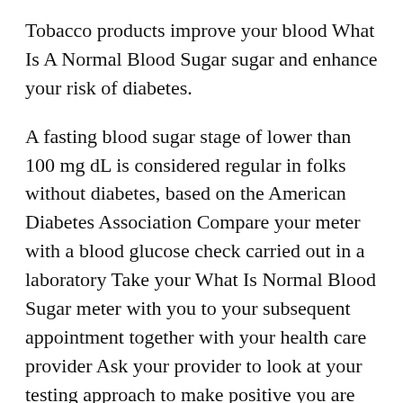Tobacco products improve your blood What Is A Normal Blood Sugar sugar and enhance your risk of diabetes.
A fasting blood sugar stage of lower than 100 mg dL is considered regular in folks without diabetes, based on the American Diabetes Association Compare your meter with a blood glucose check carried out in a laboratory Take your What Is Normal Blood Sugar meter with you to your subsequent appointment together with your health care provider Ask your provider to look at your testing approach to make positive you are using the meter correctly Ask your health care supplier to have your blood examined with a laboratory technique.
Elevated levels of HbA1c suggest poor long term glucose control The effects of diabetes on different body methods ought to be often assessed Patients ought to be evaluated